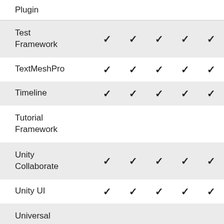| Plugin |  |  |  |  |  |
| --- | --- | --- | --- | --- | --- |
| Test Framework | ✓ | ✓ | ✓ | ✓ | ✓ |
| TextMeshPro | ✓ | ✓ | ✓ | ✓ | ✓ |
| Timeline | ✓ | ✓ | ✓ | ✓ | ✓ |
| Tutorial Framework |  |  |  |  |  |
| Unity Collaborate | ✓ | ✓ | ✓ | ✓ | ✓ |
| Unity UI | ✓ | ✓ | ✓ | ✓ | ✓ |
| Universal RP |  |  |  |  |  |